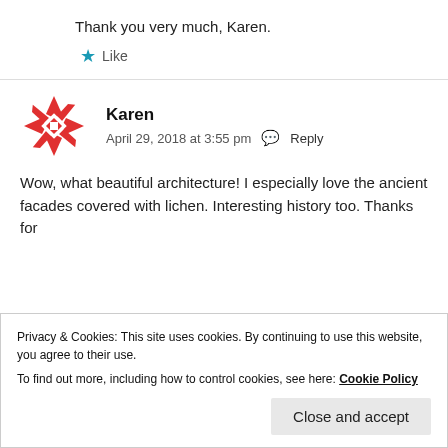Thank you very much, Karen.
Like
Karen
April 29, 2018 at 3:55 pm  Reply
Wow, what beautiful architecture! I especially love the ancient facades covered with lichen. Interesting history too. Thanks for sharing everyone.
Privacy & Cookies: This site uses cookies. By continuing to use this website, you agree to their use.
To find out more, including how to control cookies, see here: Cookie Policy
Close and accept